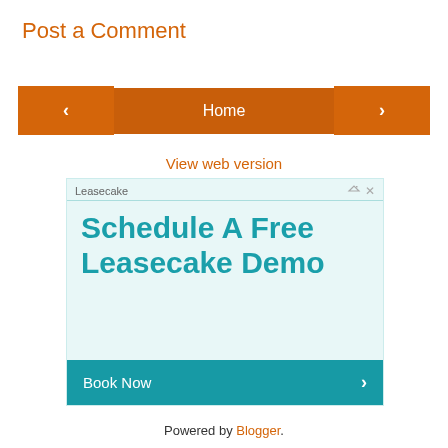Post a Comment
< | Home | >
View web version
[Figure (other): Advertisement for Leasecake. Header shows 'Leasecake' brand with ad icons. Body text reads 'Schedule A Free Leasecake Demo' in large teal font on light blue background. Footer teal bar with 'Book Now' button and chevron.]
Powered by Blogger.